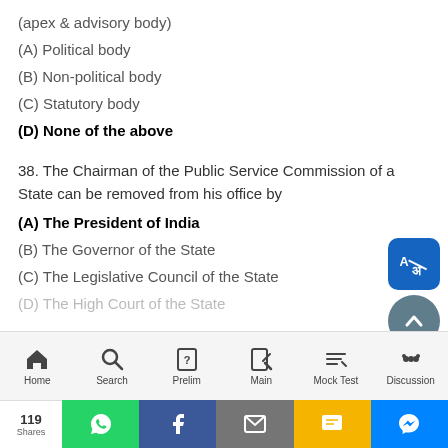(apex & advisory body)
(A) Political body
(B) Non-political body
(C) Statutory body
(D) None of the above
38. The Chairman of the Public Service Commission of a State can be removed from his office by
(A) The President of India
(B) The Governor of the State
(C) The Legislative Council of the State
(D) The High Court of the State
Home  Search  Prelim  Main  Mock Test  Discussion
119 Shares